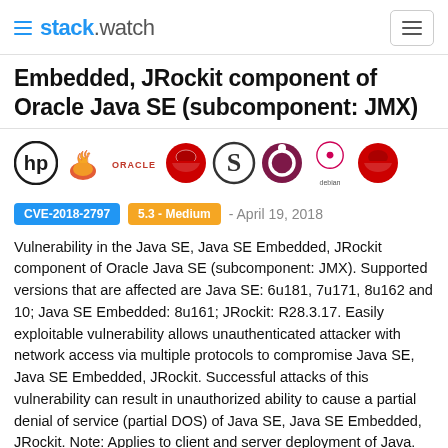stack.watch
Embedded, JRockit component of Oracle Java SE (subcomponent: JMX)
[Figure (logo): Row of vendor logos: HP, Java (coffee cup), Oracle, Red Hat, Slackware, Ubuntu, Debian, Red Hat (second)]
CVE-2018-2797   5.3 - Medium   - April 19, 2018
Vulnerability in the Java SE, Java SE Embedded, JRockit component of Oracle Java SE (subcomponent: JMX). Supported versions that are affected are Java SE: 6u181, 7u171, 8u162 and 10; Java SE Embedded: 8u161; JRockit: R28.3.17. Easily exploitable vulnerability allows unauthenticated attacker with network access via multiple protocols to compromise Java SE, Java SE Embedded, JRockit. Successful attacks of this vulnerability can result in unauthorized ability to cause a partial denial of service (partial DOS) of Java SE, Java SE Embedded, JRockit. Note: Applies to client and server deployment of Java. This vulnerability can be exploited through sandboxed Java Web Start applications and sandboxed Java applets. It can also be exploited by supplying data to APIs in the